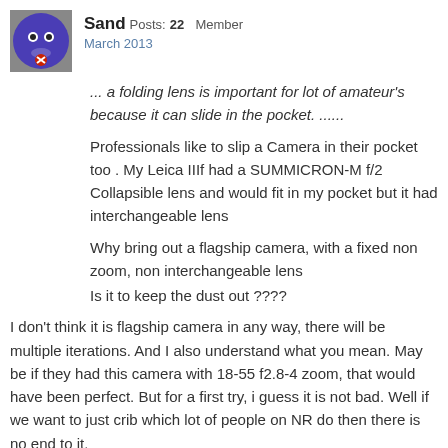Sand Posts: 22 Member
March 2013
... a folding lens is important for lot of amateur's because it can slide in the pocket. ......
Professionals like to slip a Camera in their pocket too . My Leica IIIf had a SUMMICRON-M f/2 Collapsible lens and would fit in my pocket but it had interchangeable lens
Why bring out a flagship camera, with a fixed non zoom, non interchangeable lens
Is it to keep the dust out ????
I don't think it is flagship camera in any way, there will be multiple iterations. And I also understand what you mean. May be if they had this camera with 18-55 f2.8-4 zoom, that would have been perfect. But for a first try, i guess it is not bad. Well if we want to just crib which lot of people on NR do then there is no end to it.